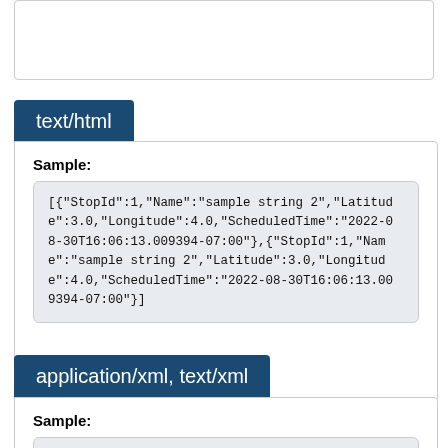text/html
Sample:
[{"StopId":1,"Name":"sample string 2","Latitude":3.0,"Longitude":4.0,"ScheduledTime":"2022-08-30T16:06:13.009394-07:00"},{"StopId":1,"Name":"sample string 2","Latitude":3.0,"Longitude":4.0,"ScheduledTime":"2022-08-30T16:06:13.009394-07:00"}]
application/xml, text/xml
Sample:
<ArrayOfStop xmlns:i="http://www.w3.org/2001/XMLSchema-instance" xmlns="http://schemas.datacontract.org/2004/07/ACTransit.Transit.Domain.M